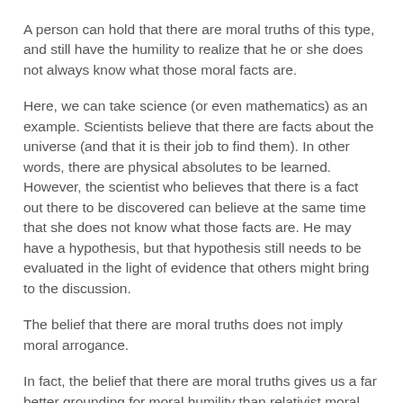A person can hold that there are moral truths of this type, and still have the humility to realize that he or she does not always know what those moral facts are.
Here, we can take science (or even mathematics) as an example. Scientists believe that there are facts about the universe (and that it is their job to find them). In other words, there are physical absolutes to be learned. However, the scientist who believes that there is a fact out there to be discovered can believe at the same time that she does not know what those facts are. He may have a hypothesis, but that hypothesis still needs to be evaluated in the light of evidence that others might bring to the discussion.
The belief that there are moral truths does not imply moral arrogance.
In fact, the belief that there are moral truths gives us a far better grounding for moral humility than relativist moral theories give us.
Moral realism - the idea that there are moral facts - gives us